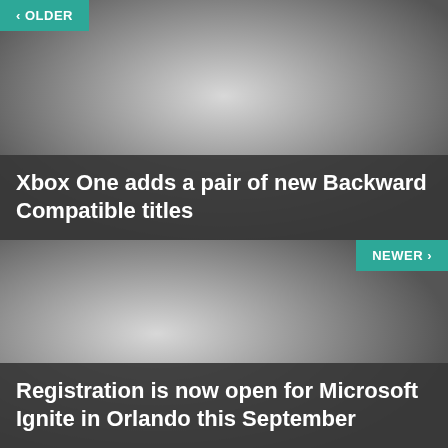[Figure (screenshot): Top article card with gradient image (light to dark gray), navigation button labeled OLDER with left arrow at top-left, and article title overlay at bottom]
Xbox One adds a pair of new Backward Compatible titles
[Figure (screenshot): Bottom article card with gradient image (light to dark gray), navigation button labeled NEWER with right arrow at top-right, and article title overlay at bottom]
Registration is now open for Microsoft Ignite in Orlando this September